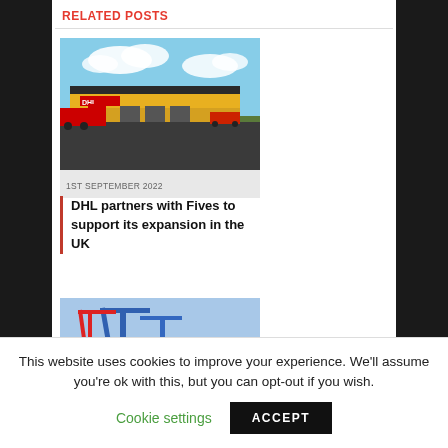RELATED POSTS
[Figure (photo): DHL logistics warehouse building exterior render with sky background]
1ST SEPTEMBER 2022
DHL partners with Fives to support its expansion in the UK
[Figure (photo): Container port with blue cranes and stacked shipping containers]
This website uses cookies to improve your experience. We'll assume you're ok with this, but you can opt-out if you wish.
Cookie settings
ACCEPT